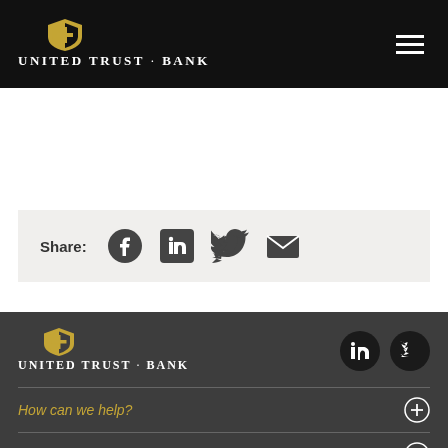United Trust Bank
Share: [Facebook] [LinkedIn] [Twitter] [Email]
[Figure (logo): United Trust Bank logo with shield icon in footer]
How can we help?
Useful information
Deposits
Lending